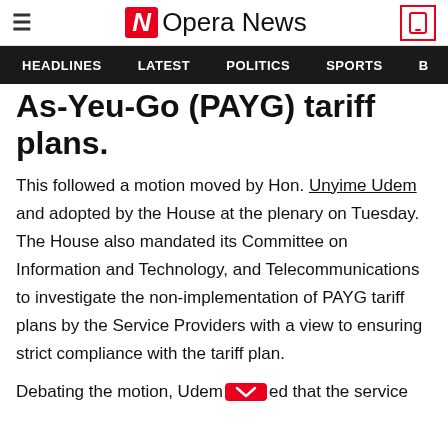Opera News
HEADLINES  LATEST  POLITICS  SPORTS
As-You-Go (PAYG) tariff plans.
This followed a motion moved by Hon. Unyime Udem and adopted by the House at the plenary on Tuesday. The House also mandated its Committee on Information and Technology, and Telecommunications to investigate the non-implementation of PAYG tariff plans by the Service Providers with a view to ensuring strict compliance with the tariff plan.
Debating the motion, Udem [button] ed that the service